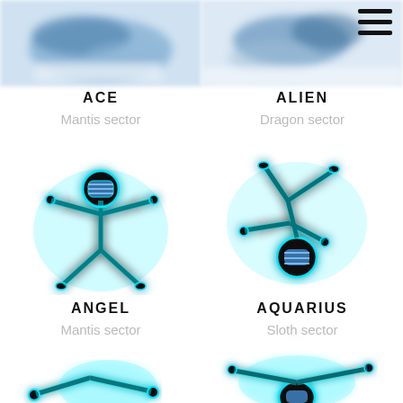[Figure (illustration): Blurred image of a character - ACE, top left]
[Figure (illustration): Blurred image of a character - ALIEN, top right]
[Figure (illustration): Hamburger menu icon, top right corner]
ACE
Mantis sector
ALIEN
Dragon sector
[Figure (illustration): ANGEL stick figure character with blue glow and striped helmet, arms and legs spread wide, glowing cyan aura]
[Figure (illustration): AQUARIUS stick figure character with blue glow and striped helmet, upside down/tumbling pose, glowing cyan aura]
ANGEL
Mantis sector
AQUARIUS
Sloth sector
[Figure (illustration): Partial bottom-left character with cyan glow, cropped]
[Figure (illustration): Partial bottom-right character with cyan glow, cropped]